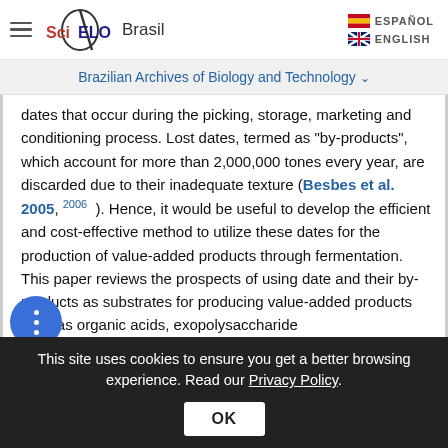SciELO Brasil | ESPAÑOL | ENGLISH
Brazilian Archives of Biology and Technology
dates that occur during the picking, storage, marketing and conditioning process. Lost dates, termed as "by-products", which account for more than 2,000,000 tones every year, are discarded due to their inadequate texture (Besbes et al. 2005, 2006 ). Hence, it would be useful to develop the efficient and cost-effective method to utilize these dates for the production of value-added products through fermentation. This paper reviews the prospects of using date and their by-products as substrates for producing value-added products such as organic acids, exopolysaccharide
This site uses cookies to ensure you get a better browsing experience. Read our Privacy Policy.